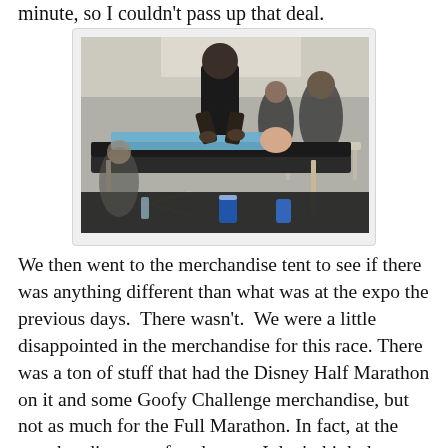minute, so I couldn't pass up that deal.
[Figure (photo): A massage tent scene showing a massage therapist working on a person lying on a massage table, with other tables and people visible in the background under a tent.]
We then went to the merchandise tent to see if there was anything different than what was at the expo the previous days.  There wasn't.  We were a little disappointed in the merchandise for this race. There was a ton of stuff that had the Disney Half Marathon on it and some Goofy Challenge merchandise, but not as much for the Full Marathon. In fact, at the merchandise tent after the race I don't think there was anything (clothing wise) from the Full Marathon.